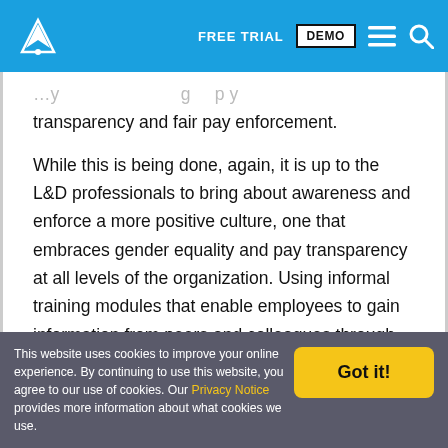FREE TRIAL  DEMO
transparency and fair pay enforcement.
While this is being done, again, it is up to the L&D professionals to bring about awareness and enforce a more positive culture, one that embraces gender equality and pay transparency at all levels of the organization. Using informal training modules that enable employees to gain information from peers and colleagues through social media and
This website uses cookies to improve your online experience. By continuing to use this website, you agree to our use of cookies. Our Privacy Notice provides more information about what cookies we use.